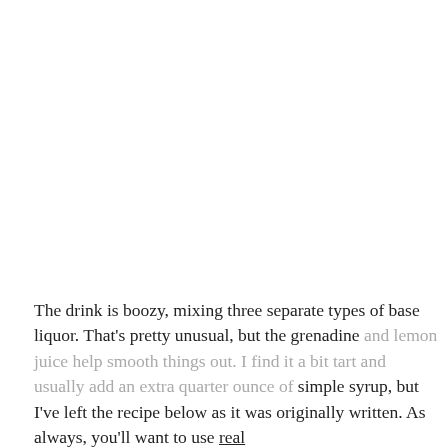The drink is boozy, mixing three separate types of base liquor. That's pretty unusual, but the grenadine and lemon juice help smooth things out. I find it a bit tart and usually add an extra quarter ounce of simple syrup, but I've left the recipe below as it was originally written. As always, you'll want to use real